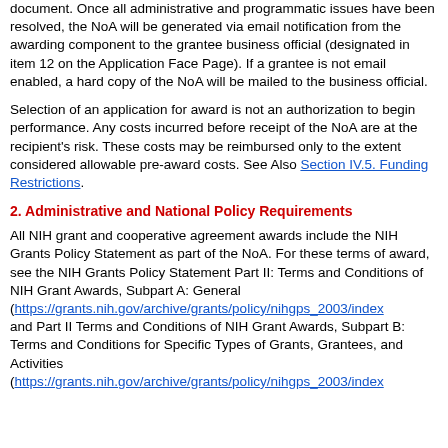document. Once all administrative and programmatic issues have been resolved, the NoA will be generated via email notification from the awarding component to the grantee business official (designated in item 12 on the Application Face Page). If a grantee is not email enabled, a hard copy of the NoA will be mailed to the business official.
Selection of an application for award is not an authorization to begin performance. Any costs incurred before receipt of the NoA are at the recipient's risk. These costs may be reimbursed only to the extent considered allowable pre-award costs. See Also Section IV.5. Funding Restrictions.
2. Administrative and National Policy Requirements
All NIH grant and cooperative agreement awards include the NIH Grants Policy Statement as part of the NoA. For these terms of award, see the NIH Grants Policy Statement Part II: Terms and Conditions of NIH Grant Awards, Subpart A: General (https://grants.nih.gov/archive/grants/policy/nihgps_2003/index and Part II Terms and Conditions of NIH Grant Awards, Subpart B: Terms and Conditions for Specific Types of Grants, Grantees, and Activities (https://grants.nih.gov/archive/grants/policy/nihgps_2003/index